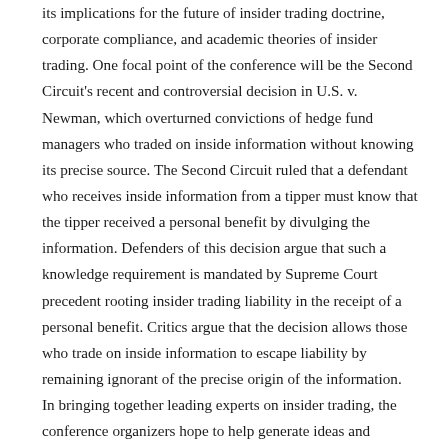its implications for the future of insider trading doctrine, corporate compliance, and academic theories of insider trading. One focal point of the conference will be the Second Circuit's recent and controversial decision in U.S. v. Newman, which overturned convictions of hedge fund managers who traded on inside information without knowing its precise source. The Second Circuit ruled that a defendant who receives inside information from a tipper must know that the tipper received a personal benefit by divulging the information. Defenders of this decision argue that such a knowledge requirement is mandated by Supreme Court precedent rooting insider trading liability in the receipt of a personal benefit. Critics argue that the decision allows those who trade on inside information to escape liability by remaining ignorant of the precise origin of the information. In bringing together leading experts on insider trading, the conference organizers hope to help generate ideas and scholarship that will aid courts and policymakers in defining the scope of the prohibition of insider trading.